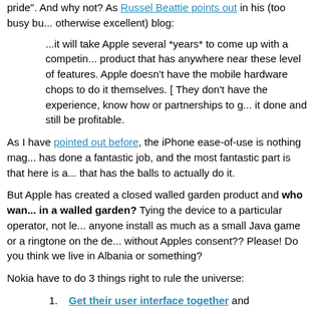pride". And why not? As Russel Beattie points out in his (too busy but otherwise excellent) blog:
...it will take Apple several *years* to come up with a competing product that has anywhere near these level of features. Apple doesn't have the mobile hardware chops to do it themselves. [ They don't have the experience, know how or partnerships to get it done and still be profitable.
As I have pointed out before, the iPhone ease-of-use is nothing mag... has done a fantastic job, and the most fantastic part is that here is a... that has the balls to actually do it.
But Apple has created a closed walled garden product and who wants to live in a walled garden? Tying the device to a particular operator, not letting anyone install as much as a small Java game or a ringtone on the device without Apples consent?? Please! Do you think we live in Albania or something?
Nokia have to do 3 things right to rule the universe:
1. Get their user interface together and
2. deliver an operator independent experience as delightful as...